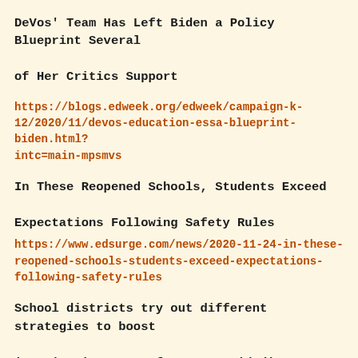DeVos' Team Has Left Biden a Policy Blueprint Several of Her Critics Support
https://blogs.edweek.org/edweek/campaign-k-12/2020/11/devos-education-essa-blueprint-biden.html?intc=main-mpsmvs
In These Reopened Schools, Students Exceed Expectations Following Safety Rules
https://www.edsurge.com/news/2020-11-24-in-these-reopened-schools-students-exceed-expectations-following-safety-rules
School districts try out different strategies to boost immunization rates for non-Covid diseases